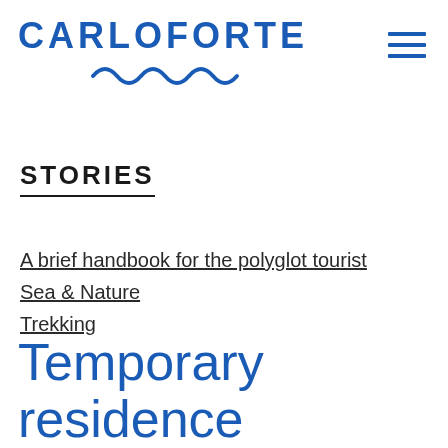CARLOFORTE
STORIES
A brief handbook for the polyglot tourist
Sea & Nature
Trekking
Temporary residence